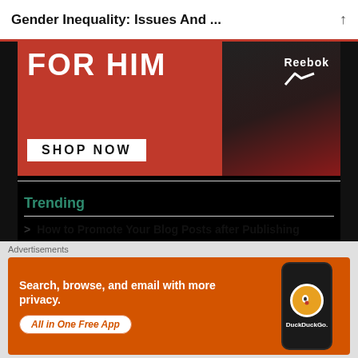Gender Inequality: Issues And ...
[Figure (photo): Reebok advertisement banner: red background with text FOR HIM and SHOP NOW button, Reebok logo visible, dark athletic figure]
Trending
How to Promote Your Blog Posts after Publishing
Best Car Vacuum Cleaners: A Comprehensive Guide
What to Do If Google AdSense Rejects Your Blog or
[Figure (photo): DuckDuckGo advertisement: orange background with text 'Search, browse, and email with more privacy. All in One Free App', phone mockup with DuckDuckGo logo]